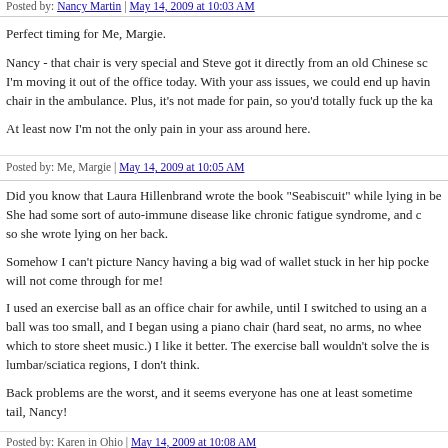Posted by: Nancy Martin | May 14, 2009 at 10:03 AM
Perfect timing for Me, Margie.

Nancy - that chair is very special and Steve got it directly from an old Chinese sc... I'm moving it out of the office today. With your ass issues, we could end up having chair in the ambulance. Plus, it's not made for pain, so you'd totally fuck up the ka...

At least now I'm not the only pain in your ass around here.
Posted by: Me, Margie | May 14, 2009 at 10:05 AM
Did you know that Laura Hillenbrand wrote the book "Seabiscuit" while lying in be... She had some sort of auto-immune disease like chronic fatigue syndrome, and c... so she wrote lying on her back.

Somehow I can't picture Nancy having a big wad of wallet stuck in her hip pocket will not come through for me!

I used an exercise ball as an office chair for awhile, until I switched to using an a... ball was too small, and I began using a piano chair (hard seat, no arms, no whee... which to store sheet music.) I like it better. The exercise ball wouldn't solve the is... lumbar/sciatica regions, I don't think.

Back problems are the worst, and it seems everyone has one at least sometime tail, Nancy!
Posted by: Karen in Ohio | May 14, 2009 at 10:08 AM